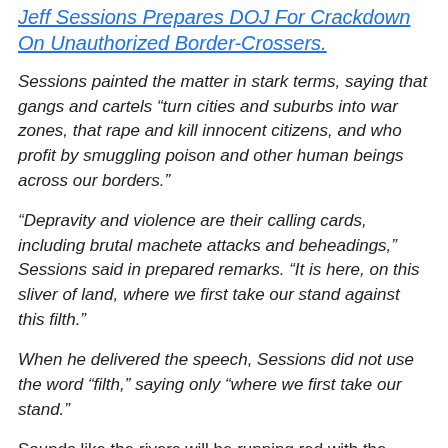Jeff Sessions Prepares DOJ For Crackdown On Unauthorized Border-Crossers.
Sessions painted the matter in stark terms, saying that gangs and cartels “turn cities and suburbs into war zones, that rape and kill innocent citizens, and who profit by smuggling poison and other human beings across our borders.”
“Depravity and violence are their calling cards, including brutal machete attacks and beheadings,” Sessions said in prepared remarks. “It is here, on this sliver of land, where we first take our stand against this filth.”
When he delivered the speech, Sessions did not use the word “filth,” saying only “where we first take our stand.”
Sounds like the rivers will be running red with the blood of the...the...er..."MAGA"...